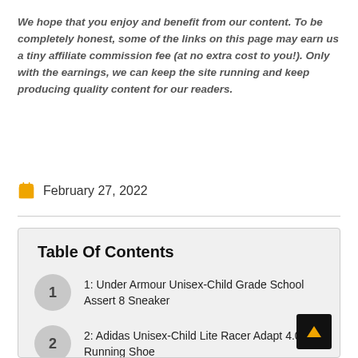We hope that you enjoy and benefit from our content. To be completely honest, some of the links on this page may earn us a tiny affiliate commission fee (at no extra cost to you!). Only with the earnings, we can keep the site running and keep producing quality content for our readers.
February 27, 2022
1: Under Armour Unisex-Child Grade School Assert 8 Sneaker
2: Adidas Unisex-Child Lite Racer Adapt 4.0 Running Shoe
3: New Balance Unisex-Child 455v2